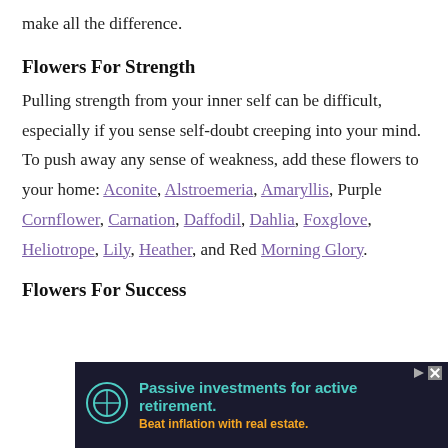make all the difference.
Flowers For Strength
Pulling strength from your inner self can be difficult, especially if you sense self-doubt creeping into your mind. To push away any sense of weakness, add these flowers to your home: Aconite, Alstroemeria, Amaryllis, Purple Cornflower, Carnation, Daffodil, Dahlia, Foxglove, Heliotrope, Lily, Heather, and Red Morning Glory.
Flowers For Success
[Figure (other): Advertisement banner: Passive investments for active retirement. Beat inflation with real estate.]